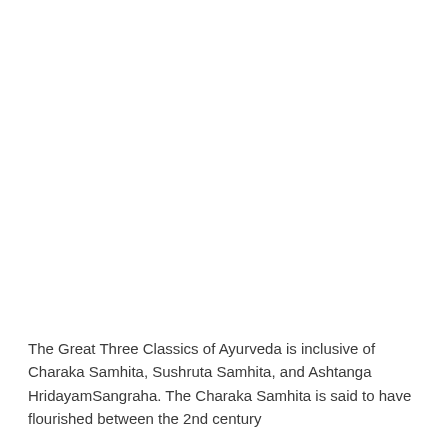The Great Three Classics of Ayurveda is inclusive of Charaka Samhita, Sushruta Samhita, and Ashtanga HridayamSangraha. The Charaka Samhita is said to have flourished between the 2nd century